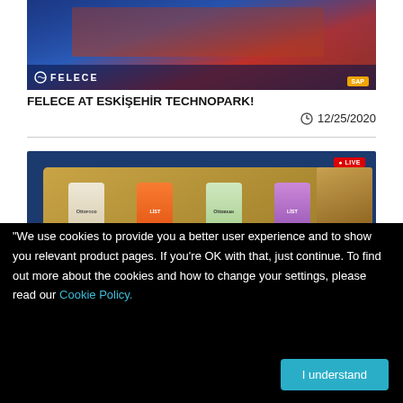[Figure (photo): Felece company building exterior with Felece logo and SAP badge overlay at bottom]
FELECE AT ESKİŞEHİR TECHNOPARK!
12/25/2020
[Figure (screenshot): Screenshot of a website showing product packages (Otto and List branded food pouches) with a LIVE badge and tractor in background]
“We use cookies to provide you a better user experience and to show you relevant product pages. If you’re OK with that, just continue. To find out more about the cookies and how to change your settings, please read our Cookie Policy.
I understand